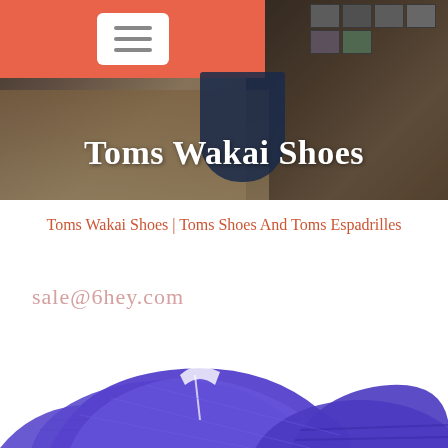[Figure (photo): Hero banner with a room interior background (warm tones, wooden floor, furniture, wall photos), with an orange/coral navigation bar in the top-left containing a hamburger menu button, and a dark arched window element in the center.]
Toms Wakai Shoes
Toms Wakai Shoes | Toms Shoes And Toms Espadrilles
sale@6hey.com
[Figure (photo): Purple/blue woven Toms Wakai shoes shown from above, partially cropped at the bottom of the page.]